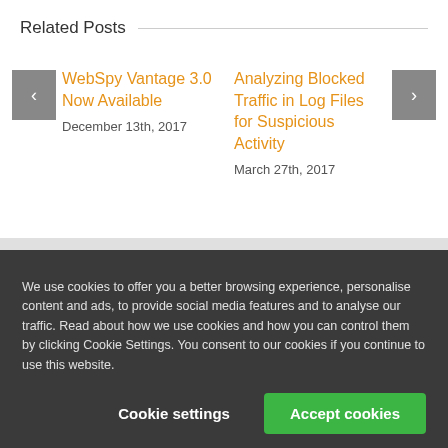Related Posts
WebSpy Vantage 3.0 Now Available
December 13th, 2017
Analyzing Blocked Traffic in Log Files for Suspicious Activity
March 27th, 2017
We use cookies to offer you a better browsing experience, personalise content and ads, to provide social media features and to analyse our traffic. Read about how we use cookies and how you can control them by clicking Cookie Settings. You consent to our cookies if you continue to use this website.
Cookie settings
Accept cookies